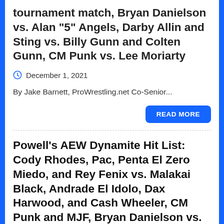tournament match, Bryan Danielson vs. Alan “5” Angels, Darby Allin and Sting vs. Billy Gunn and Colten Gunn, CM Punk vs. Lee Moriarty
December 1, 2021
By Jake Barnett, ProWrestling.net Co-Senior...
READ MORE
Powell’s AEW Dynamite Hit List: Cody Rhodes, Pac, Penta El Zero Miedo, and Rey Fenix vs. Malakai Black, Andrade El Idolo, Dax Harwood, and Cash Wheeler, CM Punk and MJF, Bryan Danielson vs. Colt Cabana, Thunder Rosa vs. Jade...